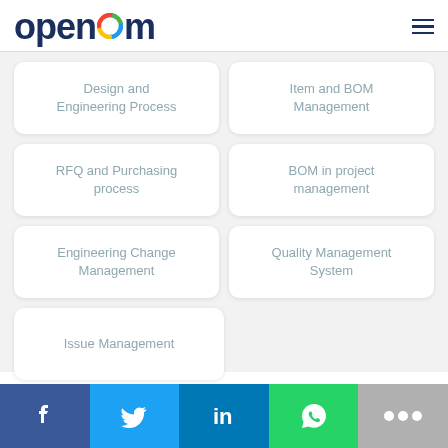openbom
Design and Engineering Process
Item and BOM Management
RFQ and Purchasing process
BOM in project management
Engineering Change Management
Quality Management System
Issue Management
[Figure (infographic): Social media share buttons: Facebook, Twitter, LinkedIn, WhatsApp, and more (dots)]